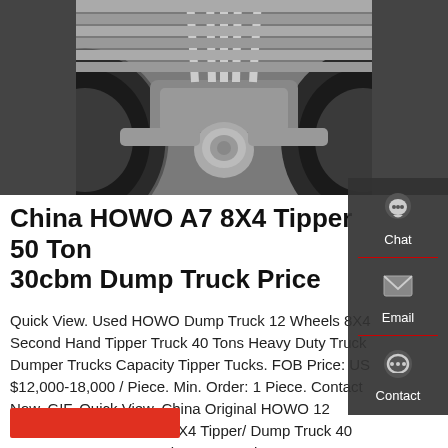[Figure (photo): Close-up underside/axle view of a HOWO dump truck showing two large tires, drive shaft, and differential assembly in black and silver tones]
China HOWO A7 8X4 Tipper 50 Ton 30cbm Dump Truck Price
Quick View. Used HOWO Dump Truck 12 Wheels 8X4 Second Hand Tipper Truck 40 Tons Heavy Duty Truck Dumper Trucks Capacity Tipper Tucks. FOB Price: US $12,000-18,000 / Piece. Min. Order: 1 Piece. Contact Now. GIF. Quick View. China Original HOWO 12 Wheeler 371HP 375HP 8X4 Tipper/ Dump Truck 40 Ton 50 Ton New or Used Heavy Truck. Get a Quote